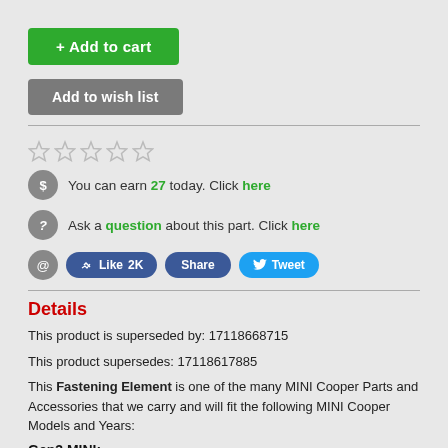[Figure (other): + Add to cart green button]
[Figure (other): Add to wish list grey button]
[Figure (other): Five empty star rating]
You can earn 27 today. Click here
Ask a question about this part. Click here
[Figure (other): Social share buttons: Like 2K, Share, Tweet]
Details
This product is superseded by: 17118668715
This product supersedes: 17118617885
This Fastening Element is one of the many MINI Cooper Parts and Accessories that we carry and will fit the following MINI Cooper Models and Years:
Gen3 MINI: